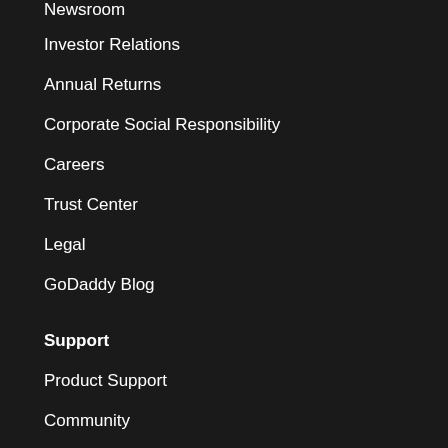Newsroom
Investor Relations
Annual Returns
Corporate Social Responsibility
Careers
Trust Center
Legal
GoDaddy Blog
Support
Product Support
Community
Report Abuse
Resources